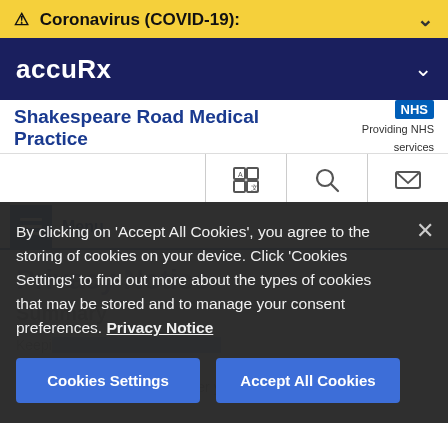⚠ Coronavirus (COVID-19):
accuRx
Shakespeare Road Medical Practice — Providing NHS services
Privacy Notice
Summary
Keeping your personal data safe is important to us. This privacy notice will inform you of how we look after your
By clicking on 'Accept All Cookies', you agree to the storing of cookies on your device. Click 'Cookies Settings' to find out more about the types of cookies that may be stored and to manage your consent preferences. Privacy Notice